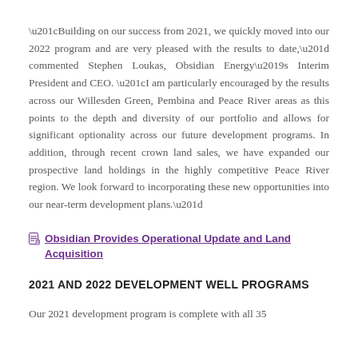“Building on our success from 2021, we quickly moved into our 2022 program and are very pleased with the results to date,” commented Stephen Loukas, Obsidian Energy’s Interim President and CEO. “I am particularly encouraged by the results across our Willesden Green, Pembina and Peace River areas as this points to the depth and diversity of our portfolio and allows for significant optionality across our future development programs. In addition, through recent crown land sales, we have expanded our prospective land holdings in the highly competitive Peace River region. We look forward to incorporating these new opportunities into our near-term development plans.”
Obsidian Provides Operational Update and Land Acquisition
2021 AND 2022 DEVELOPMENT WELL PROGRAMS
Our 2021 development program is complete with all 35